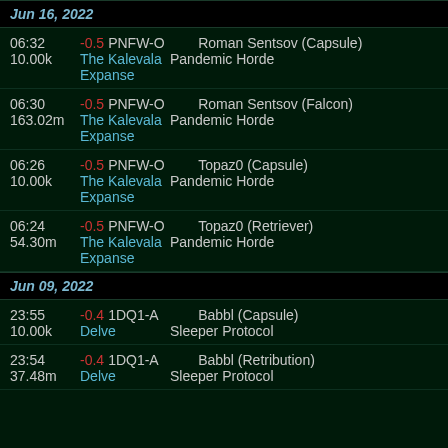Jun 16, 2022
06:32 -0.5 PNFW-O Roman Sentsov (Capsule) 10.00k The Kalevala Pandemic Horde Expanse
06:30 -0.5 PNFW-O Roman Sentsov (Falcon) 163.02m The Kalevala Pandemic Horde Expanse
06:26 -0.5 PNFW-O Topaz0 (Capsule) 10.00k The Kalevala Pandemic Horde Expanse
06:24 -0.5 PNFW-O Topaz0 (Retriever) 54.30m The Kalevala Pandemic Horde Expanse
Jun 09, 2022
23:55 -0.4 1DQ1-A Babbl (Capsule) 10.00k Delve Sleeper Protocol
23:54 -0.4 1DQ1-A Babbl (Retribution) 37.48m Delve Sleeper Protocol